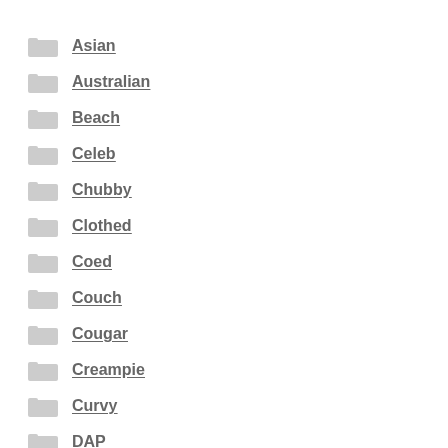Asian
Australian
Beach
Celeb
Chubby
Clothed
Coed
Couch
Cougar
Creampie
Curvy
DAP
European